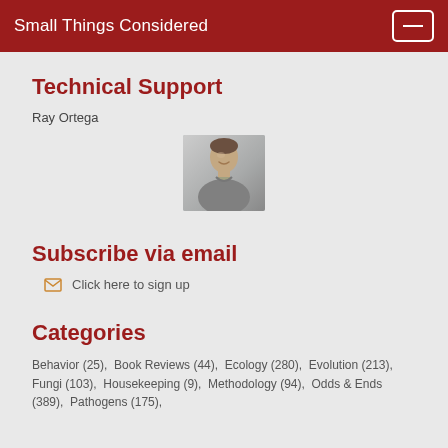Small Things Considered
Technical Support
Ray Ortega
[Figure (photo): Headshot photo of Ray Ortega, a man smiling, wearing a grey shirt, against a light background.]
Subscribe via email
Click here to sign up
Categories
Behavior (25),  Book Reviews (44),  Ecology (280),  Evolution (213),  Fungi (103),  Housekeeping (9),  Methodology (94),  Odds & Ends (389),  Pathogens (175),